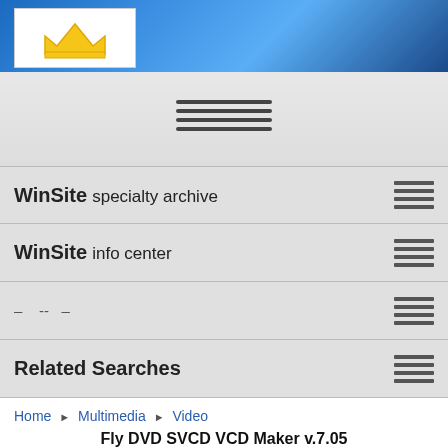[Figure (logo): WinSite website header with blue gradient background and crown logo in white box]
WinSite specialty archive
WinSite info center
– -- –
Related Searches
Home ▶ Multimedia ▶ Video
Fly DVD SVCD VCD Maker v.7.05